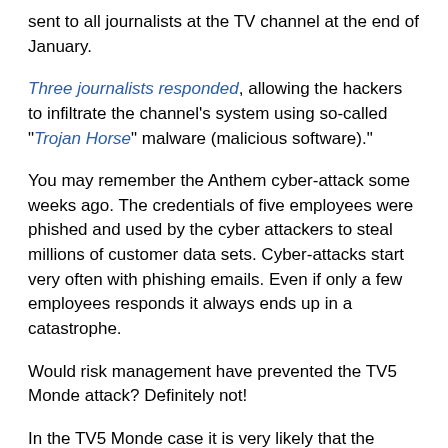sent to all journalists at the TV channel at the end of January.
Three journalists responded, allowing the hackers to infiltrate the channel’s system using so-called “Trojan Horse” malware (malicious software).”
You may remember the Anthem cyber-attack some weeks ago. The credentials of five employees were phished and used by the cyber attackers to steal millions of customer data sets. Cyber-attacks start very often with phishing emails. Even if only a few employees responds it always ends up in a catastrophe.
Would risk management have prevented the TV5 Monde attack? Definitely not!
In the TV5 Monde case it is very likely that the Trojan-Horse would have been detected by a proper configured Anti-Malware scanner on the mail-in server. For details please see